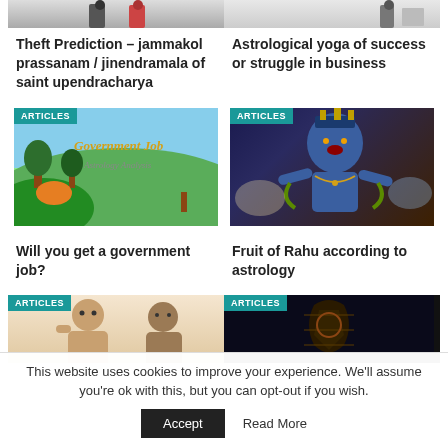[Figure (photo): Partially visible top images of two article cards]
Theft Prediction – jammakol prassanam / jinendramala of saint upendracharya
Astrological yoga of success or struggle in business
[Figure (illustration): Government Job Astrology Analysis illustration with green landscape and text]
[Figure (illustration): Colorful illustration of Rahu deity figure from Hindu mythology]
Will you get a government job?
Fruit of Rahu according to astrology
[Figure (photo): Partially visible bottom article card images]
This website uses cookies to improve your experience. We'll assume you're ok with this, but you can opt-out if you wish.